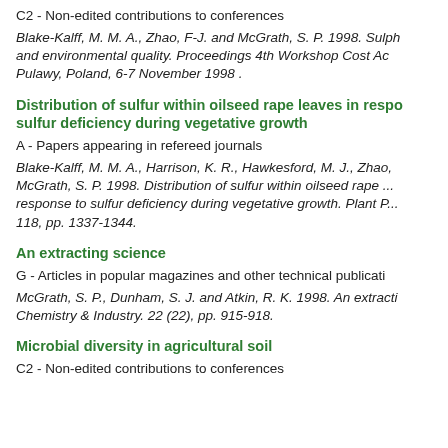C2 - Non-edited contributions to conferences
Blake-Kalff, M. M. A., Zhao, F-J. and McGrath, S. P. 1998. Sulph... and environmental quality. Proceedings 4th Workshop Cost Ac... Pulawy, Poland, 6-7 November 1998 .
Distribution of sulfur within oilseed rape leaves in response to sulfur deficiency during vegetative growth
A - Papers appearing in refereed journals
Blake-Kalff, M. M. A., Harrison, K. R., Hawkesford, M. J., Zhao, McGrath, S. P. 1998. Distribution of sulfur within oilseed rape ... response to sulfur deficiency during vegetative growth. Plant P... 118, pp. 1337-1344.
An extracting science
G - Articles in popular magazines and other technical publications
McGrath, S. P., Dunham, S. J. and Atkin, R. K. 1998. An extracti... Chemistry & Industry. 22 (22), pp. 915-918.
Microbial diversity in agricultural soil
C2 - Non-edited contributions to conferences